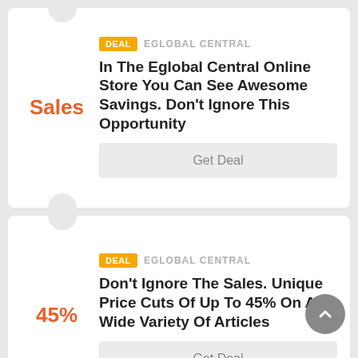Sales
DEAL  EGLOBAL CENTRAL
In The Eglobal Central Online Store You Can See Awesome Savings. Don't Ignore This Opportunity
Get Deal
45%
DEAL  EGLOBAL CENTRAL
Don't Ignore The Sales. Unique Price Cuts Of Up To 45% On A Wide Variety Of Articles
Get Deal